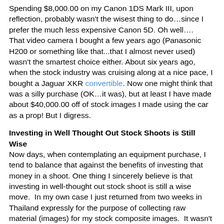Spending $8,000.00 on my Canon 1DS Mark III, upon reflection, probably wasn't the wisest thing to do…since I prefer the much less expensive Canon 5D. Oh well….   That video camera I bought a few years ago (Panasonic H200 or something like that...that I almost never used) wasn't the smartest choice either. About six years ago, when the stock industry was cruising along at a nice pace, I bought a Jaguar XKR convertible. Now one might think that was a silly purchase (OK…it was), but at least I have made about $40,000.00 off of stock images I made using the car as a prop! But I digress.
Investing in Well Thought Out Stock Shoots is Still Wise
Now days, when contemplating an equipment purchase, I tend to balance that against the benefits of investing that money in a shoot. One thing I sincerely believe is that investing in well-thought out stock shoot is still a wise move.  In my own case I just returned from two weeks in Thailand expressly for the purpose of collecting raw material (images) for my stock composite images.  It wasn't a cheap trip, but I am certain I will make a substantial profit from that